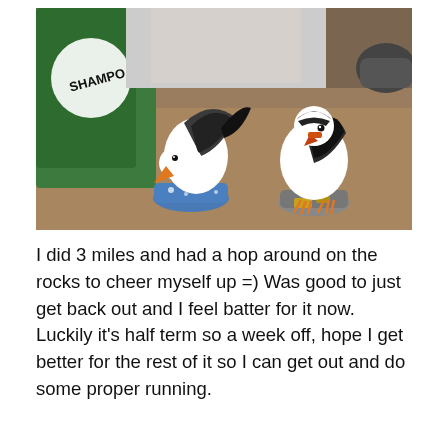[Figure (photo): Two decorative bird figurines (seagull-style) on a wooden table. The left bird is bent forward with an orange beak; the right is upright with a yellow beak. Background includes a green hat with 'SHAMPO' text and a dark round object.]
I did 3 miles and had a hop around on the rocks to cheer myself up =) Was good to just get back out and I feel batter for it now. Luckily it's half term so a week off, hope I get better for the rest of it so I can get out and do some proper running.